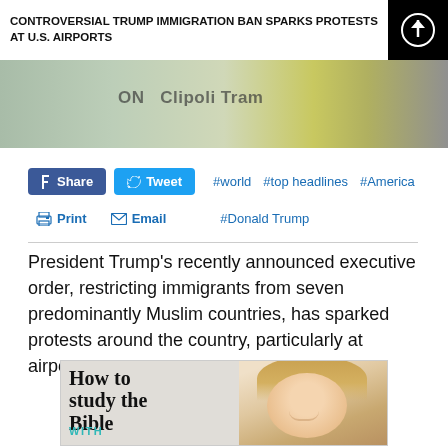CONTROVERSIAL TRUMP IMMIGRATION BAN SPARKS PROTESTS AT U.S. AIRPORTS
[Figure (photo): Protest scene at an airport with signs visible]
#world  #top headlines  #America
#Donald Trump
President Trump's recently announced executive order, restricting immigrants from seven predominantly Muslim countries, has sparked protests around the country, particularly at airports.
[Figure (photo): Advertisement: How to study the Bible WITH [person smiling]]